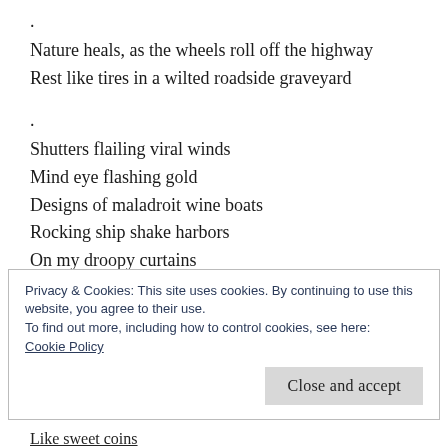.
Nature heals, as the wheels roll off the highway
Rest like tires in a wilted roadside graveyard
.
Shutters flailing viral winds
Mind eye flashing gold
Designs of maladroit wine boats
Rocking ship shake harbors
On my droopy curtains
.
Sweet Suzy muse never forgets my address
Drops off provisions
Flipping bad luck coins
Privacy & Cookies: This site uses cookies. By continuing to use this website, you agree to their use.
To find out more, including how to control cookies, see here:
Cookie Policy
Close and accept
Like sweet coins